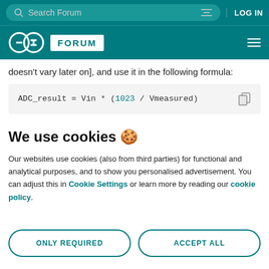Search Forum | LOG IN
Arduino FORUM
doesn’t vary later on], and use it in the following formula:
We use cookies 🍪
Our websites use cookies (also from third parties) for functional and analytical purposes, and to show you personalised advertisement. You can adjust this in Cookie Settings or learn more by reading our cookie policy.
ONLY REQUIRED
ACCEPT ALL